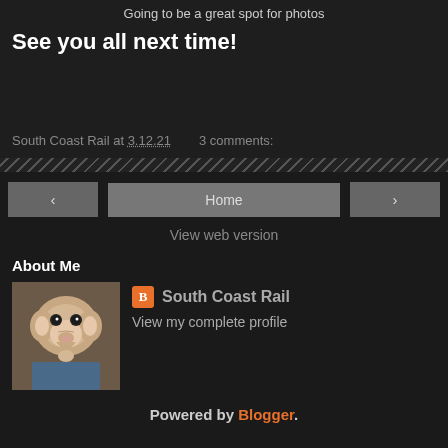Going to be a great spot for photos
See you all next time!
South Coast Rail at 3.12.21   3 comments:
Home
View web version
About Me
South Coast Rail
View my complete profile
Powered by Blogger.